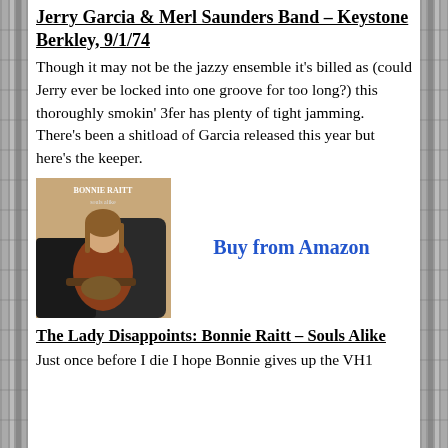Jerry Garcia & Merl Saunders Band – Keystone Berkley, 9/1/74
Though it may not be the jazzy ensemble it's billed as (could Jerry ever be locked into one groove for too long?) this thoroughly smokin' 3fer has plenty of tight jamming. There's been a shitload of Garcia released this year but here's the keeper.
[Figure (photo): Album cover photo of Bonnie Raitt sitting with a guitar]
Buy from Amazon
The Lady Disappoints: Bonnie Raitt – Souls Alike
Just once before I die I hope Bonnie gives up the VH1